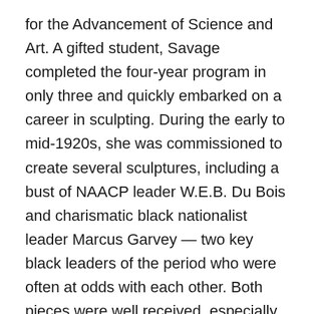for the Advancement of Science and Art. A gifted student, Savage completed the four-year program in only three and quickly embarked on a career in sculpting. During the early to mid-1920s, she was commissioned to create several sculptures, including a bust of NAACP leader W.E.B. Du Bois and charismatic black nationalist leader Marcus Garvey — two key black leaders of the period who were often at odds with each other. Both pieces were well received, especially in black circles, but the racial climate at the time hampered wider recognition of her work. Savage won a prestigious scholarship at a summer arts program at the Fontainebleau School of the Fine Arts outside of Paris in 1923, for instance, but the offer was withdrawn when the school discovered that she was black. Despite her efforts — she filed a complaint with the Ethical Culture Committee — and public outcry from several well-